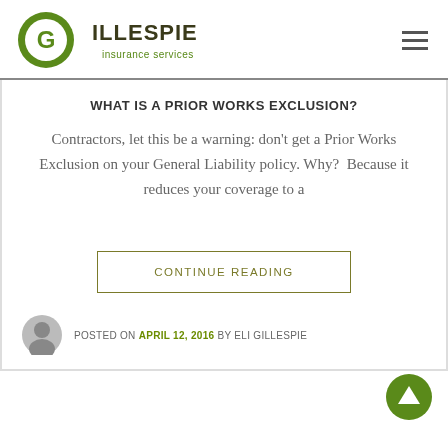[Figure (logo): Gillespie Insurance Services logo with green circular G icon and dark text]
WHAT IS A PRIOR WORKS EXCLUSION?
Contractors, let this be a warning: don't get a Prior Works Exclusion on your General Liability policy. Why?  Because it reduces your coverage to a
CONTINUE READING
POSTED ON APRIL 12, 2016 BY ELI GILLESPIE